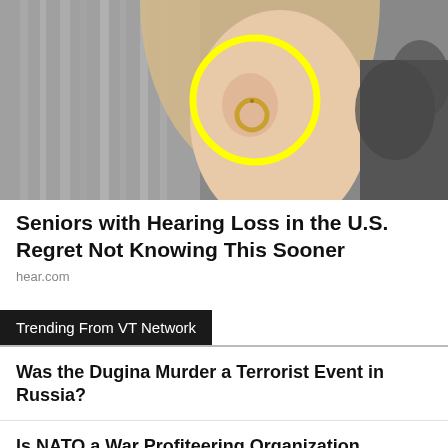[Figure (photo): Close-up photo of a woman's ear with a gold hoop earring, highlighted by a yellow circle. Background is black and white with some foliage visible.]
Seniors with Hearing Loss in the U.S. Regret Not Knowing This Sooner
hear.com
Trending From VT Network
Was the Dugina Murder a Terrorist Event in Russia?
Is NATO a War Profiteering Organization Keeping The New World Order in Business?
On This Day In History, The First enslaved